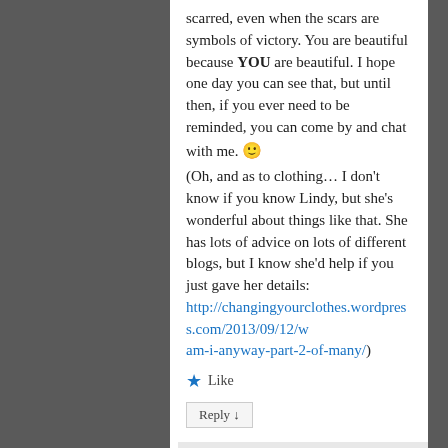scarred, even when the scars are symbols of victory. You are beautiful because YOU are beautiful. I hope one day you can see that, but until then, if you ever need to be reminded, you can come by and chat with me. 🙂
(Oh, and as to clothing… I don't know if you know Lindy, but she's wonderful about things like that. She has lots of advice on lots of different blogs, but I know she'd help if you just gave her details: http://changingyourclothes.wordpress.com/2013/09/12/w am-i-anyway-part-2-of-many/)
★ Like
Reply ↓
Blog Woman!!! on February 20, 2014 at 20:52